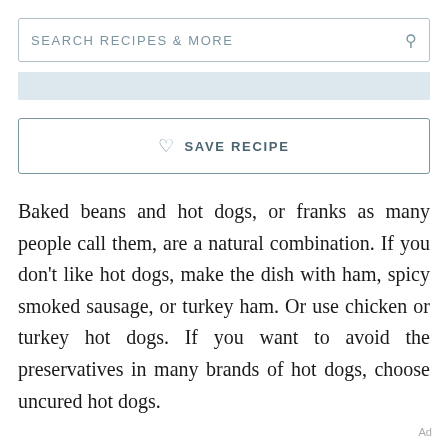SEARCH RECIPES & MORE
SAVE RECIPE
Baked beans and hot dogs, or franks as many people call them, are a natural combination. If you don't like hot dogs, make the dish with ham, spicy smoked sausage, or turkey ham. Or use chicken or turkey hot dogs. If you want to avoid the preservatives in many brands of hot dogs, choose uncured hot dogs.
Ad